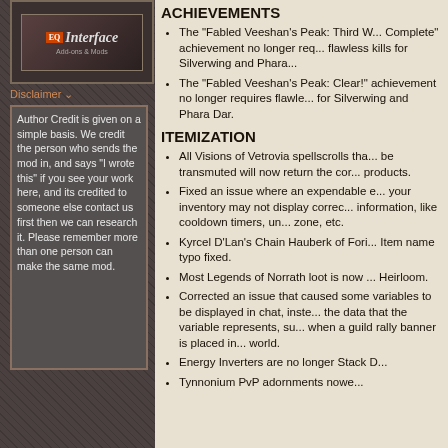[Figure (logo): EQ Interface logo with orange EQ badge and stylized 'Interface' text]
Disclaimer ∨
Author Credit is given on a simple basis. We credit the person who sends the mod in, and says "I wrote this" if you see your work here, and its credited to someone else contact us first then we can research it. Please remember more than one person can make the same mod.
ACHIEVEMENTS
The "Fabled Veeshan's Peak: Third W... Complete" achievement no longer req... flawless kills for Silverwing and Phara...
The "Fabled Veeshan's Peak: Clear!" achievement no longer requires flawle... for Silverwing and Phara Dar.
ITEMIZATION
All Visions of Vetrovia spellscrolls tha... be transmuted will now return the cor... products.
Fixed an issue where an expendable e... your inventory may not display correc... information, like cooldown timers, un... zone, etc.
Kyrcel D'Lan's Chain Hauberk of Fori... Item name typo fixed.
Most Legends of Norrath loot is now ... Heirloom.
Corrected an issue that caused some variables to be displayed in chat, inste... the data that the variable represents, su... when a guild rally banner is placed in... world.
Energy Inverters are no longer Stack B...
Tynnonium PvP adornments nowe...